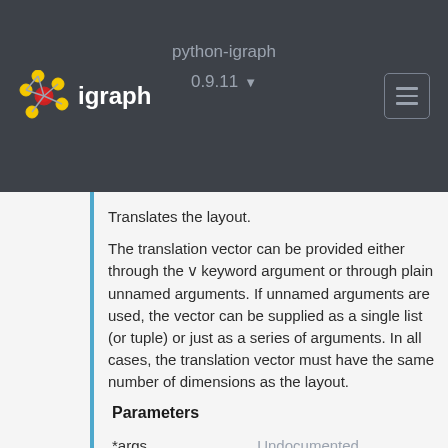python-igraph 0.9.11 igraph
Translates the layout.
The translation vector can be provided either through the v keyword argument or through plain unnamed arguments. If unnamed arguments are used, the vector can be supplied as a single list (or tuple) or just as a series of arguments. In all cases, the translation vector must have the same number of dimensions as the layout.
Parameters
|  |  |
| --- | --- |
| *args | Undocumented |
| **kwds | Undocumented |
| v | the translation vector |